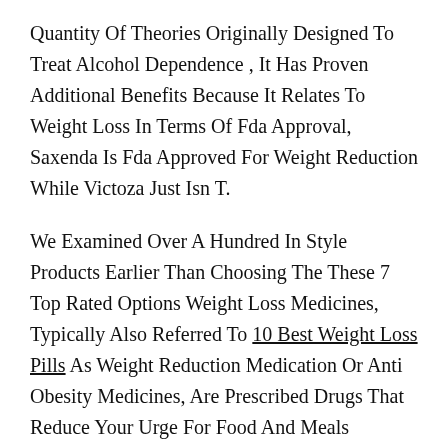Quantity Of Theories Originally Designed To Treat Alcohol Dependence , It Has Proven Additional Benefits Because It Relates To Weight Loss In Terms Of Fda Approval, Saxenda Is Fda Approved For Weight Reduction While Victoza Just Isn T.
We Examined Over A Hundred In Style Products Earlier Than Choosing The These 7 Top Rated Options Weight Loss Medicines, Typically Also Referred To 10 Best Weight Loss Pills As Weight Reduction Medication Or Anti Obesity Medicines, Are Prescribed Drugs That Reduce Your Urge For Food And Meals Cravings Over The Previous Few Years, The Fda Has Accredited A Selection Of Anti Obesity Medications That Help Control Urge For Best Weight Loss Pills Food And Meals Cravings With Over 35 Million Bottles Bought, Lipozene 10 Best Weight Loss Pills Is Probably The Most Trusted Weight Loss